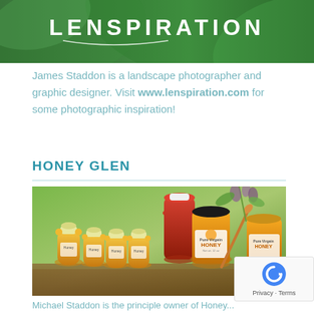[Figure (logo): Lenspiration logo banner with white text on green leaf background]
James Staddon is a landscape photographer and graphic designer. Visit www.lenspiration.com for some photographic inspiration!
HONEY GLEN
[Figure (photo): Photo of multiple honey jars including bear-shaped bottles and glass jars labeled 'Pure Virgein HONEY', with a honey dipper and wildflowers in the background]
Michael Staddon is the principle owner of Honey...